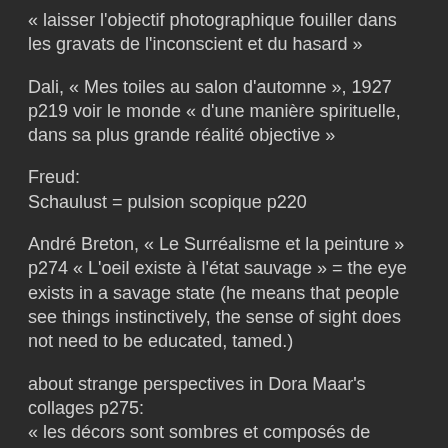« laisser l'objectif photographique fouiller dans les gravats de l'inconscient et du hasard »
Dali, « Mes toiles au salon d'automne », 1927 p219 voir le monde « d'une manière spirituelle, dans sa plus grande réalité objective »
Freud:
Schaulust = pulsion scopique p220
André Breton, « Le Surréalisme et la peinture » p274 « L'oeil existe à l'état sauvage » = the eye exists in a savage state (he means that people see things instinctively, the sense of sight does not need to be educated, tamed.)
about strange perspectives in Dora Maar's collages p275:
« les décors sont sombres et composés de perspectives